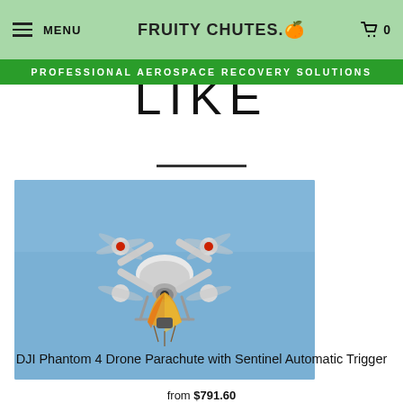MENU | FRUITY CHUTES. | 0
PROFESSIONAL AEROSPACE RECOVERY SOLUTIONS
YOU MAY ALSO LIKE
[Figure (photo): DJI Phantom 4 drone in flight with a yellow-orange parachute canopy attached underneath, against a blue sky]
DJI Phantom 4 Drone Parachute with Sentinel Automatic Trigger
from $791.60